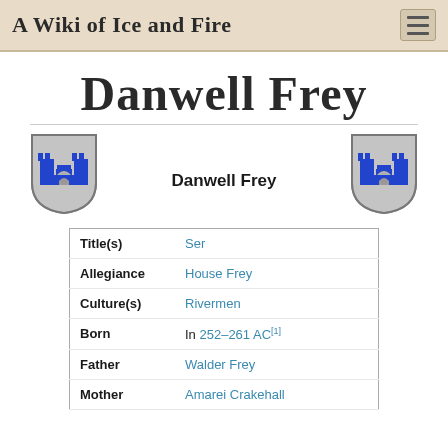A Wiki of Ice and Fire
Danwell Frey
[Figure (illustration): House Frey heraldic shield with blue castle/tower on grey background - left]
Danwell Frey
[Figure (illustration): House Frey heraldic shield with blue castle/tower on grey background - right]
| Title(s) | Ser |
| Allegiance | House Frey |
| Culture(s) | Rivermen |
| Born | In 252–261 AC[1] |
| Father | Walder Frey |
| Mother | Amarei Crakehall |